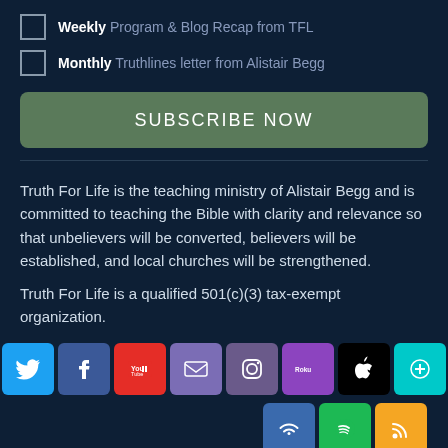Weekly Program & Blog Recap from TFL
Monthly Truthlines letter from Alistair Begg
SUBSCRIBE NOW
Truth For Life is the teaching ministry of Alistair Begg and is committed to teaching the Bible with clarity and relevance so that unbelievers will be converted, believers will be established, and local churches will be strengthened.
Truth For Life is a qualified 501(c)(3) tax-exempt organization.
[Figure (infographic): Row of social media and platform icons: Twitter, Facebook, YouTube, Email, Instagram, Roku, Apple, Podcast+ (teal), and second row with WiFi/radio, Spotify, RSS feed icons]